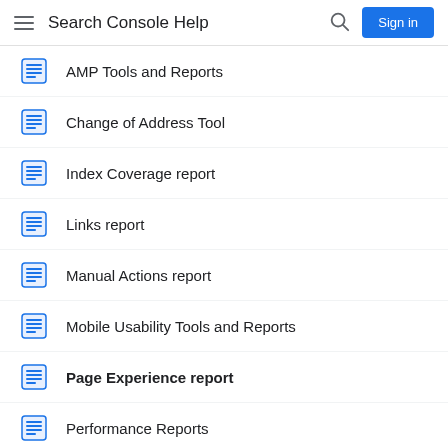Search Console Help
AMP Tools and Reports
Change of Address Tool
Index Coverage report
Links report
Manual Actions report
Mobile Usability Tools and Reports
Page Experience report
Performance Reports
Property and user settings